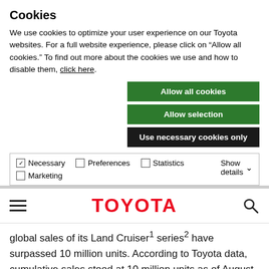Cookies
We use cookies to optimize your user experience on our Toyota websites. For a full website experience, please click on “Allow all cookies.” To find out more about the cookies we use and how to disable them, click here.
Allow all cookies
Allow selection
Use necessary cookies only
Necessary  Preferences  Statistics  Marketing  Show details
[Figure (logo): Toyota red wordmark logo with hamburger menu icon on left and search icon on right]
global sales of its Land Cruiser¹ series² have surpassed 10 million units. According to Toyota data, cumulative sales stood at 10 million units as of August 31, 2019.
The Land Cruiser is Toyota's longest-selling car³. It launched on August 1, 1951, as the Toyota "Jeep BJ," and production has continued for 68 years.